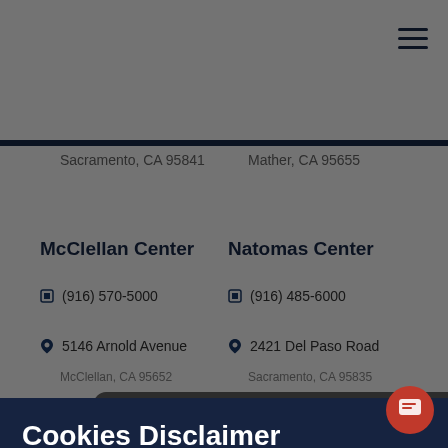Sacramento, CA 95841
Mather, CA 95655
McClellan Center
(916) 570-5000
5146 Arnold Avenue
McClellan, CA 95652
Natomas Center
(916) 485-6000
2421 Del Paso Road
Sacramento, CA 95835
Cookies Disclaimer
The American River College website uses cookies to enhance user experience and analyze site usage. By continuing to use this site, you are giving us consent to do this. Review our Privacy Policy to learn more.
ACCEPT AND CLOSE
May I help you?
English, Spanish and simplified Chinese. What
ke to know?